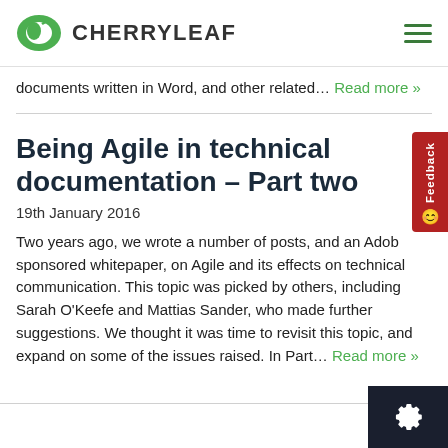CHERRYLEAF
documents written in Word, and other related… Read more »
Being Agile in technical documentation – Part two
19th January 2016
Two years ago, we wrote a number of posts, and an Adobe sponsored whitepaper, on Agile and its effects on technical communication. This topic was picked by others, including Sarah O'Keefe and Mattias Sander, who made further suggestions. We thought it was time to revisit this topic, and expand on some of the issues raised. In Part… Read more »